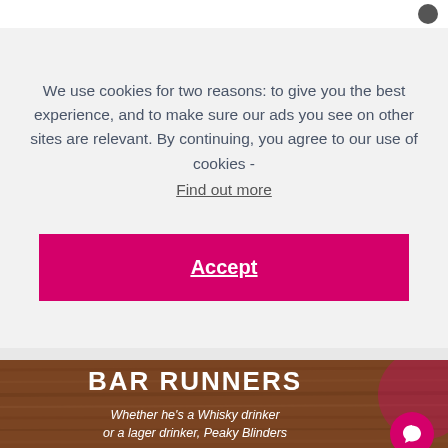We use cookies for two reasons: to give you the best experience, and to make sure our ads you see on other sites are relevant. By continuing, you agree to our use of cookies - Find out more
Accept
[Figure (photo): Wood texture background with white bold text 'BAR RUNNERS' and italic subtitle 'Whether he's a Whisky drinker or a lager drinker, Peaky Blinders' with a pink circular chat bubble icon in the bottom right]
Whether he's a Whisky drinker or a lager drinker, Peaky Blinders